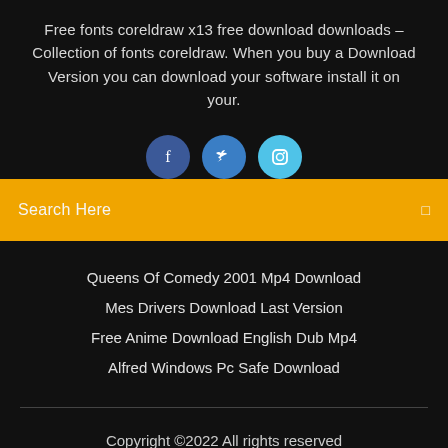Free fonts coreldraw x13 free download downloads – Collection of fonts coreldraw. When you buy a Download Version you can download your software install it on your.
[Figure (illustration): Three social media icon circles: Facebook (dark blue), Twitter (medium blue), Instagram (light blue)]
Search Here
Queens Of Comedy 2001 Mp4 Download
Mes Drivers Download Last Version
Free Anime Download English Dub Mp4
Alfred Windows Pc Safe Download
Copyright ©2022 All rights reserved